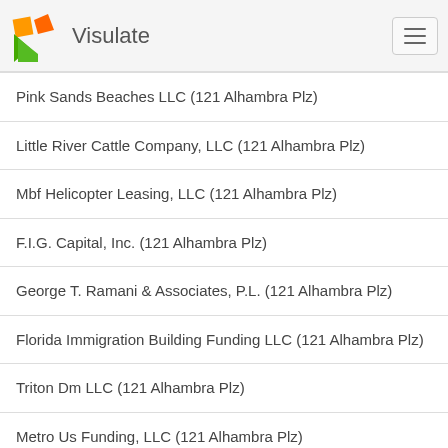Visulate
Pink Sands Beaches LLC (121 Alhambra Plz)
Little River Cattle Company, LLC (121 Alhambra Plz)
Mbf Helicopter Leasing, LLC (121 Alhambra Plz)
F.I.G. Capital, Inc. (121 Alhambra Plz)
George T. Ramani & Associates, P.L. (121 Alhambra Plz)
Florida Immigration Building Funding LLC (121 Alhambra Plz)
Triton Dm LLC (121 Alhambra Plz)
Metro Us Funding, LLC (121 Alhambra Plz)
Metro Us, LLC (121 Alhambra Plz)
Triton 7880, LLC (121 Alhambra Plz)